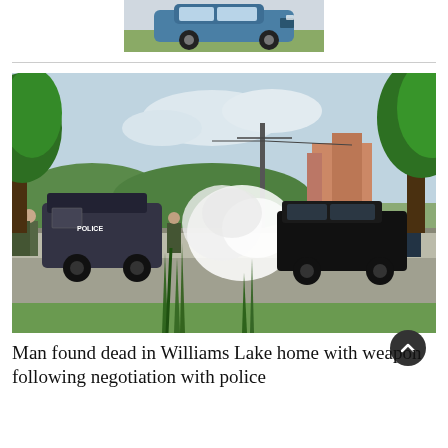[Figure (photo): Advertisement showing a blue SUV/crossover vehicle on a light background]
[Figure (photo): News photo showing a police tactical scene on a street with a POLICE-marked armored vehicle, smoke, officers in tactical gear, a black SUV police car, green trees and grass in foreground, buildings and power lines in background]
Man found dead in Williams Lake home with weapon following negotiation with police